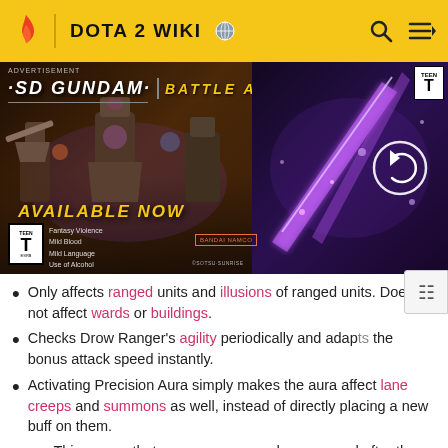DOTA 2 WIKI
[Figure (photo): SD Gundam Battle Alliance advertisement banner. Shows robot characters, 'AVAILABLE NOW' text, ESRB Teen rating, Bandai Namco logo.]
Only affects ranged units and illusions of ranged units. Does not affect wards or buildings.
Checks Drow Ranger's agility periodically and adapts the bonus attack speed instantly.
Activating Precision Aura simply makes the aura affect lane creeps and summons as well, instead of directly placing a new buff on them.
This means that creeps summoned or spawned after the activation still get the bonus for the